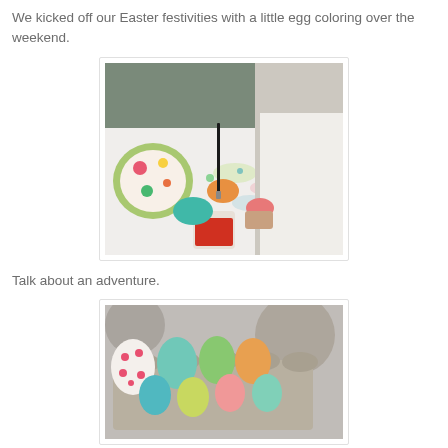We kicked off our Easter festivities with a little egg coloring over the weekend.
[Figure (photo): Close-up photo of Easter egg coloring activity: colorful eggs on a white table cloth, a hand holding a paintbrush painting an orange egg, cups with dye, and a floral plate in the background.]
Talk about an adventure.
[Figure (photo): Photo of decorated Easter eggs in a cardboard egg carton. Eggs are various colors including teal, green, orange, pink, and white with pink polka dots.]